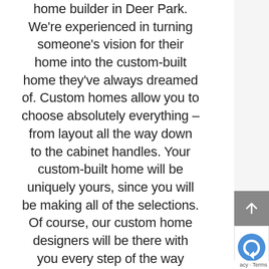home builder in Deer Park. We're experienced in turning someone's vision for their home into the custom-built home they've always dreamed of. Custom homes allow you to choose absolutely everything – from layout all the way down to the cabinet handles. Your custom-built home will be uniquely yours, since you will be making all of the selections. Of course, our custom home designers will be there with you every step of the way should you need some help making decisions!